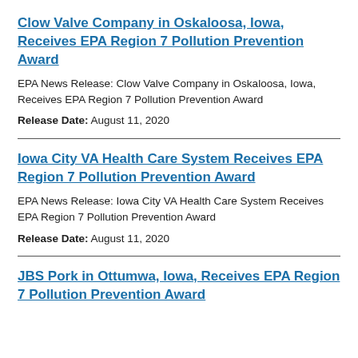Clow Valve Company in Oskaloosa, Iowa, Receives EPA Region 7 Pollution Prevention Award
EPA News Release: Clow Valve Company in Oskaloosa, Iowa, Receives EPA Region 7 Pollution Prevention Award
Release Date: August 11, 2020
Iowa City VA Health Care System Receives EPA Region 7 Pollution Prevention Award
EPA News Release: Iowa City VA Health Care System Receives EPA Region 7 Pollution Prevention Award
Release Date: August 11, 2020
JBS Pork in Ottumwa, Iowa, Receives EPA Region 7 Pollution Prevention Award